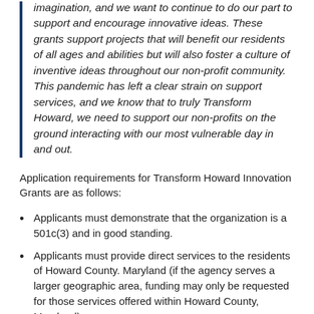imagination, and we want to continue to do our part to support and encourage innovative ideas. These grants support projects that will benefit our residents of all ages and abilities but will also foster a culture of inventive ideas throughout our non-profit community. This pandemic has left a clear strain on support services, and we know that to truly Transform Howard, we need to support our non-profits on the ground interacting with our most vulnerable day in and out.
Application requirements for Transform Howard Innovation Grants are as follows:
Applicants must demonstrate that the organization is a 501c(3) and in good standing.
Applicants must provide direct services to the residents of Howard County. Maryland (if the agency serves a larger geographic area, funding may only be requested for those services offered within Howard County, Maryland).